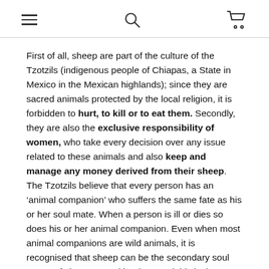[hamburger menu icon] [search icon] [cart icon]
First of all, sheep are part of the culture of the Tzotzils (indigenous people of Chiapas, a State in Mexico in the Mexican highlands); since they are sacred animals protected by the local religion, it is forbidden to hurt, to kill or to eat them. Secondly, they are also the exclusive responsibility of women, who take every decision over any issue related to these animals and also keep and manage any money derived from their sheep. The Tzotzils believe that every person has an ‘animal companion’ who suffers the same fate as his or her soul mate. When a person is ill or dies so does his or her animal companion. Even when most animal companions are wild animals, it is recognised that sheep can be the secondary soul mates of shamans and healers, and this is the reason for not hurting or killing them. However, it is only sheep that are sacred, and cows, horses or pigs are